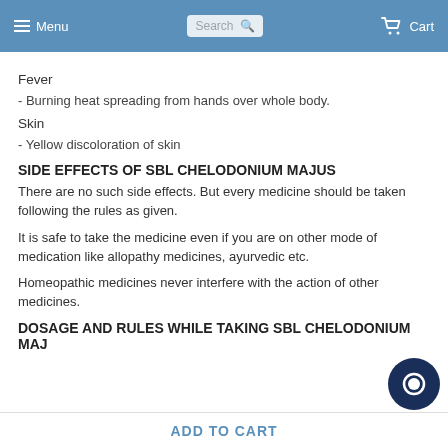Menu | Search | Cart
Fever
- Burning heat spreading from hands over whole body.
Skin
- Yellow discoloration of skin
SIDE EFFECTS OF SBL CHELODONIUM MAJUS
There are no such side effects. But every medicine should be taken following the rules as given.
It is safe to take the medicine even if you are on other mode of medication like allopathy medicines, ayurvedic etc.
Homeopathic medicines never interfere with the action of other medicines.
DOSAGE AND RULES WHILE TAKING SBL CHELODONIUM MAJ
ADD TO CART